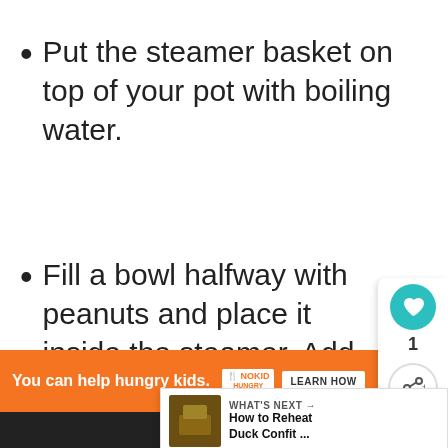Put the steamer basket on top of your pot with boiling water.
Fill a bowl halfway with peanuts and place it inside the steamer. Add more as you go if needed.
[Figure (screenshot): Social sharing UI overlay with heart/like button showing count of 1 and a share button]
[Figure (screenshot): What's Next overlay showing How to Reheat Duck Confit article thumbnail and text]
[Figure (screenshot): Advertisement banner: You can help hungry kids. No Kid Hungry. Learn How. With close button.]